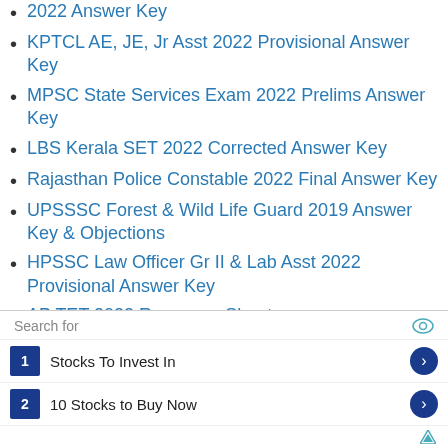KPTCL AE, JE, Jr Asst 2022 Provisional Answer Key
MPSC State Services Exam 2022 Prelims Answer Key
LBS Kerala SET 2022 Corrected Answer Key
Rajasthan Police Constable 2022 Final Answer Key
UPSSSC Forest & Wild Life Guard 2019 Answer Key & Objections
HPSSC Law Officer Gr II & Lab Asst 2022 Provisional Answer Key
AP TET 2022 Response Sheet
PPSC Veterinary Officer 2022 Answer Key & Objections
[Figure (screenshot): Advertisement banner with Search for label and eye icon, two rows: 1. Stocks To Invest In with arrow, 2. 10 Stocks to Buy Now with arrow, and a small play/triangle icon at bottom right.]